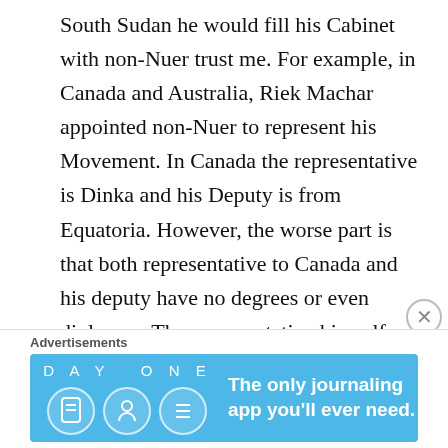South Sudan he would fill his Cabinet with non-Nuer trust me. For example, in Canada and Australia, Riek Machar appointed non-Nuer to represent his Movement. In Canada the representative is Dinka and his Deputy is from Equatoria. However, the worse part is that both representative to Canada and his deputy have no degrees or even diplomas. The representative himself cannot even communicate well in English because he is still taking English as Second Language or ESL.
★ Like
Advertisements
[Figure (other): Advertisement banner for Day One journaling app. Shows 'DAY ONE' text with three icons (book, person, list) on a blue background. Text reads: 'The only journaling app you'll ever need.']